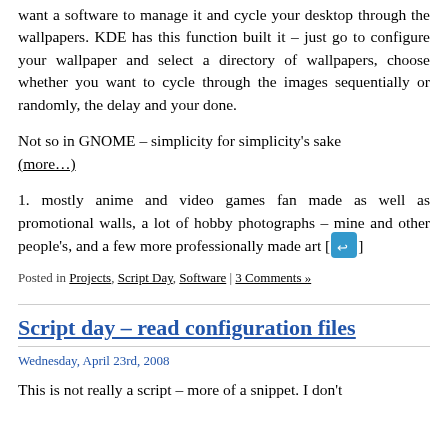want a software to manage it and cycle your desktop through the wallpapers. KDE has this function built it – just go to configure your wallpaper and select a directory of wallpapers, choose whether you want to cycle through the images sequentially or randomly, the delay and your done.
Not so in GNOME – simplicity for simplicity's sake (more…)
1. mostly anime and video games fan made as well as promotional walls, a lot of hobby photographs – mine and other people's, and a few more professionally made art [↩]
Posted in Projects, Script Day, Software | 4 Comments »
Script day – read configuration files
Wednesday, April 23rd, 2008
This is not really a script – more of a snippet. I don't